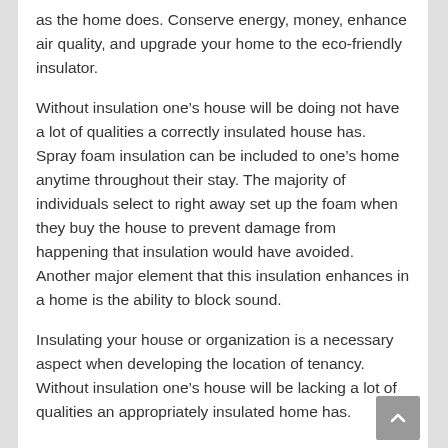as the home does. Conserve energy, money, enhance air quality, and upgrade your home to the eco-friendly insulator.
Without insulation one's house will be doing not have a lot of qualities a correctly insulated house has. Spray foam insulation can be included to one's home anytime throughout their stay. The majority of individuals select to right away set up the foam when they buy the house to prevent damage from happening that insulation would have avoided. Another major element that this insulation enhances in a home is the ability to block sound.
Insulating your house or organization is a necessary aspect when developing the location of tenancy. Without insulation one's house will be lacking a lot of qualities an appropriately insulated home has.